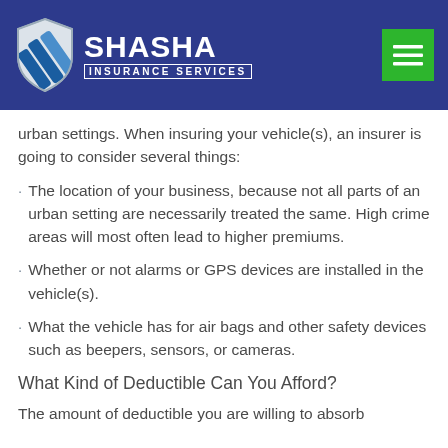[Figure (logo): Shasha Insurance Services logo with shield icon on blue header background, and green hamburger menu button in top right]
urban settings. When insuring your vehicle(s), an insurer is going to consider several things:
The location of your business, because not all parts of an urban setting are necessarily treated the same. High crime areas will most often lead to higher premiums.
Whether or not alarms or GPS devices are installed in the vehicle(s).
What the vehicle has for air bags and other safety devices such as beepers, sensors, or cameras.
What Kind of Deductible Can You Afford?
The amount of deductible you are willing to absorb